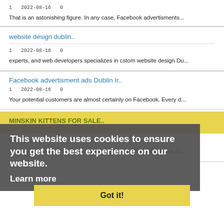1  2022-08-16  0
That is an astonishing figure. In any case, Facebook advertisments...
website design dublin..
1  2022-08-16  0
experts, and web developers specializes in cstom website design Du...
Facebook advertisment ads Dublin Ir..
1  2022-08-16  0
Your potential customers are almost certainly on Facebook. Every d...
This website uses cookies to ensure you get the best experience on our website.
Learn more
MINSKIN KITTENS FOR SALE..
Got it!
0  2022-08-16  0
Our minskin kittens for sale are great and beautiful ambassadors o...